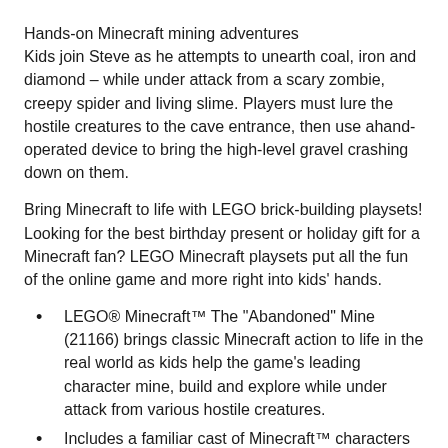Hands-on Minecraft mining adventures
Kids join Steve as he attempts to unearth coal, iron and diamond – while under attack from a scary zombie, creepy spider and living slime. Players must lure the hostile creatures to the cave entrance, then use ahand-operated device to bring the high-level gravel crashing down on them.
Bring Minecraft to life with LEGO brick-building playsets! Looking for the best birthday present or holiday gift for a Minecraft fan? LEGO Minecraft playsets put all the fun of the online game and more right into kids' hands.
LEGO® Minecraft™ The "Abandoned" Mine (21166) brings classic Minecraft action to life in the real world as kids help the game's leading character mine, build and explore while under attack from various hostile creatures.
Includes a familiar cast of Minecraft™ characters and creatures: Steve, a zombie, spider and living slime. The set also includes coal, iron and diamond